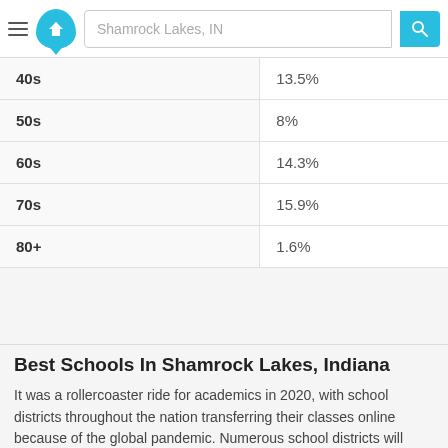Shamrock Lakes, IN
| Age Group | Percentage |
| --- | --- |
| 40s | 13.5% |
| 50s | 8% |
| 60s | 14.3% |
| 70s | 15.9% |
| 80+ | 1.6% |
Best Schools In Shamrock Lakes, Indiana
It was a rollercoaster ride for academics in 2020, with school districts throughout the nation transferring their classes online because of the global pandemic. Numerous school districts will continue online courses, while others will welcome students back to campus. Regardless, homebuyers are shopping for homes in Shamrock Lakes with dedicated in-home learning spaces, as well as for homes located within the best school